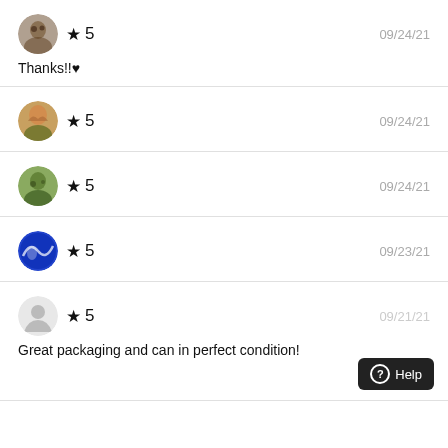★ 5   09/24/21
Thanks!!♥
★ 5   09/24/21
★ 5   09/24/21
★ 5   09/23/21
★ 5   09/21/21
Great packaging and can in perfect condition!